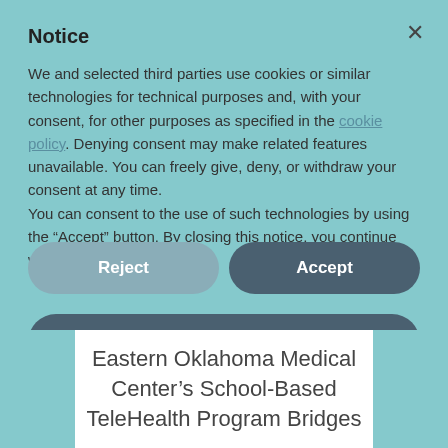Notice
We and selected third parties use cookies or similar technologies for technical purposes and, with your consent, for other purposes as specified in the cookie policy. Denying consent may make related features unavailable. You can freely give, deny, or withdraw your consent at any time.
You can consent to the use of such technologies by using the “Accept” button. By closing this notice, you continue without accepting.
Reject
Accept
Learn more and customize
Eastern Oklahoma Medical Center’s School-Based TeleHealth Program Bridges